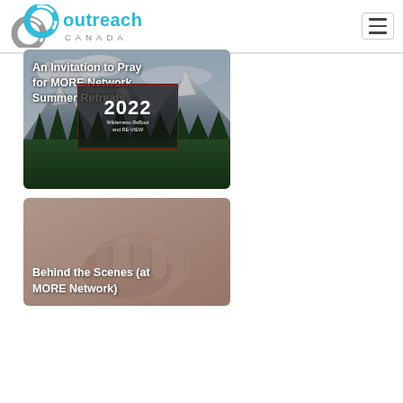[Figure (logo): Outreach Canada logo — circular chain link icon in cyan/grey with 'outreach CANADA' text in cyan and grey]
[Figure (screenshot): Navigation hamburger menu button — three horizontal lines in a rounded rectangle border]
[Figure (photo): Card image: mountain wilderness scene with pine forests and snow-capped peaks under cloudy sky. Overlay text reads 'An Invitation to Pray for MORE Network Summer Retreats' with inner dark box showing '2022 Wilderness ReBoot and RE-VIEW']
[Figure (photo): Card image: close-up of hands held together (prayer hands) with soft warm tones. Overlay text reads 'Behind the Scenes (at MORE Network)']